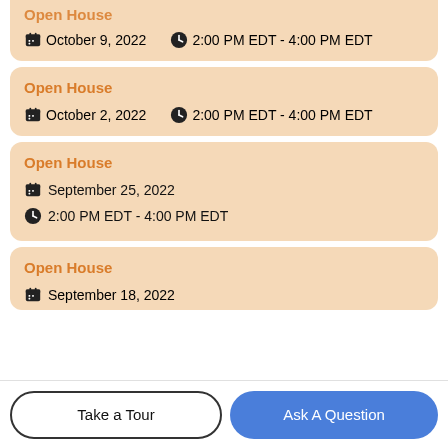Open House — October 9, 2022 — 2:00 PM EDT - 4:00 PM EDT
Open House — October 2, 2022 — 2:00 PM EDT - 4:00 PM EDT
Open House — September 25, 2022 — 2:00 PM EDT - 4:00 PM EDT
Open House — September 18, 2022 (partial)
Take a Tour
Ask A Question